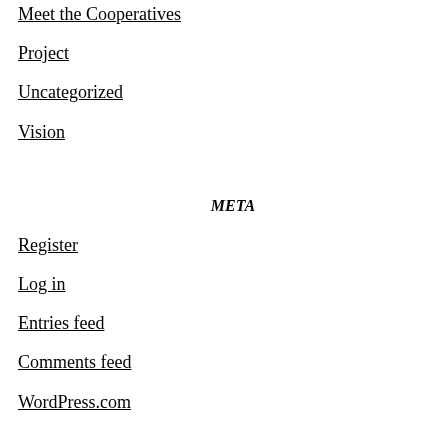Meet the Cooperatives
Project
Uncategorized
Vision
META
Register
Log in
Entries feed
Comments feed
WordPress.com